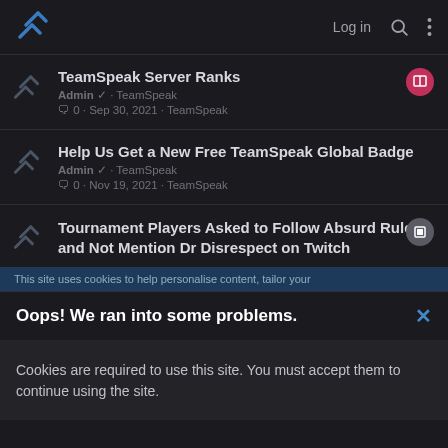Log in
TeamSpeak Server Ranks
Admin · TeamSpeak
0 · Sep 30, 2021 · TeamSpeak
Help Us Get a New Free TeamSpeak Global Badge
Admin · TeamSpeak
0 · Nov 19, 2021 · TeamSpeak
Tournament Players Asked to Follow Absurd Rules and Not Mention Dr Disrespect on Twitch
This site uses cookies to help personalise content, tailor your
Oops! We ran into some problems.
Cookies are required to use this site. You must accept them to continue using the site.